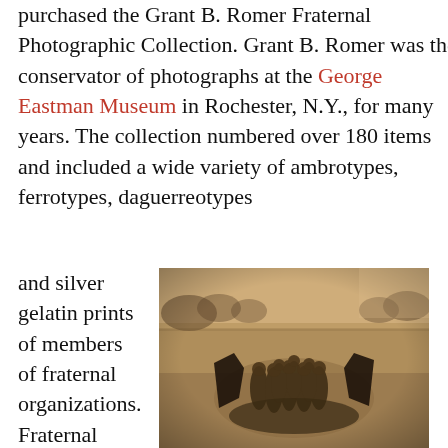purchased the Grant B. Romer Fraternal Photographic Collection. Grant B. Romer was the conservator of photographs at the George Eastman Museum in Rochester, N.Y., for many years. The collection numbered over 180 items and included a wide variety of ambrotypes, ferrotypes, daguerreotypes
and silver gelatin prints of members of fraternal organizations. Fraternal organizations represented
[Figure (photo): Sepia-toned photograph of a group of people in robes carrying large dark banners/flags, standing outdoors on open ground with a treeline in the background. Knights of Pythias Degree Lodge Team, ca. 1890.]
Knights of Pythias Degree Lodge Team, ca. 1890, Unidentified Maker, Parkersburg, West Virginia, Special Acquisitions Fund, 88.42.115b.